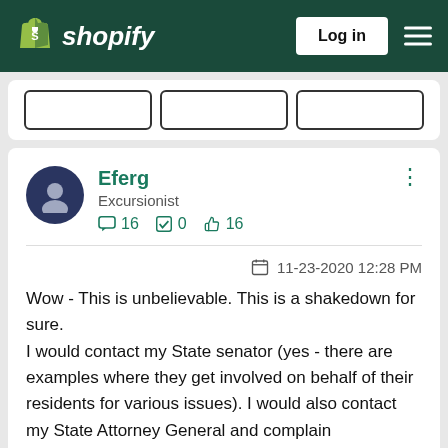[Figure (screenshot): Shopify navigation bar with logo, Log in button, and hamburger menu on dark green background]
[Figure (screenshot): Partial card with three outline buttons visible at the top]
Eferg
Excursionist
16  0  16
11-23-2020 12:28 PM
Wow - This is unbelievable.  This is a shakedown for sure.
I would contact my State senator (yes - there are examples where they get involved on behalf of their residents for various issues).  I would also contact my State Attorney General and complain